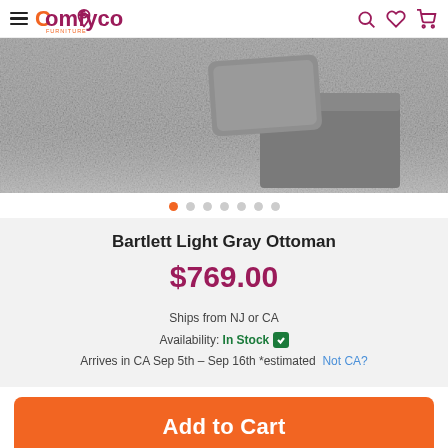Comfyco Furniture — navigation header with hamburger menu, logo, location pin, search, wishlist, cart icons
[Figure (photo): Product photo of Bartlett Light Gray Ottoman on a gray textured rug with a gray blanket draped nearby]
Bartlett Light Gray Ottoman
$769.00
Ships from NJ or CA
Availability: In Stock ✓
Arrives in CA Sep 5th – Sep 16th *estimated   Not CA?
Add to Cart